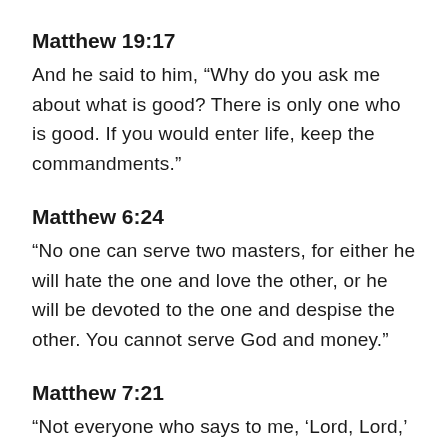Matthew 19:17
And he said to him, “Why do you ask me about what is good? There is only one who is good. If you would enter life, keep the commandments.”
Matthew 6:24
“No one can serve two masters, for either he will hate the one and love the other, or he will be devoted to the one and despise the other. You cannot serve God and money.”
Matthew 7:21
“Not everyone who says to me, ‘Lord, Lord,’ will enter the kingdom of heaven,